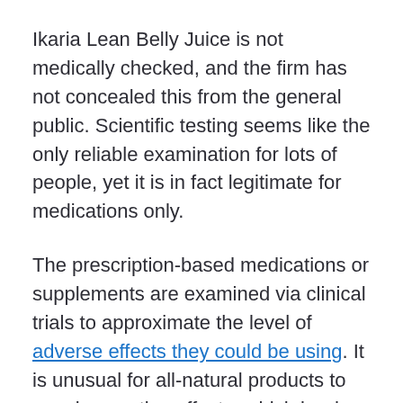Ikaria Lean Belly Juice is not medically checked, and the firm has not concealed this from the general public. Scientific testing seems like the only reliable examination for lots of people, yet it is in fact legitimate for medications only.
The prescription-based medications or supplements are examined via clinical trials to approximate the level of adverse effects they could be using. It is unusual for all-natural products to supply negative effects, which is why medical testing is not required if the item utilizes only organic essences inside.
The company, nonetheless, states that it complies with batch testing for top quality and also safety